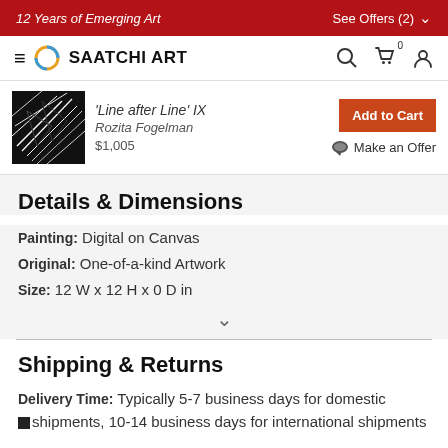12 Years of Emerging Art | See Offers (2)
[Figure (logo): Saatchi Art logo with navigation bar]
[Figure (photo): Thumbnail of artwork 'Line after Line' IX by Rozita Fogelman]
'Line after Line' IX
Rozita Fogelman
$1,005
Details & Dimensions
Painting: Digital on Canvas
Original: One-of-a-kind Artwork
Size: 12 W x 12 H x 0 D in
Shipping & Returns
Delivery Time: Typically 5-7 business days for domestic shipments, 10-14 business days for international shipments